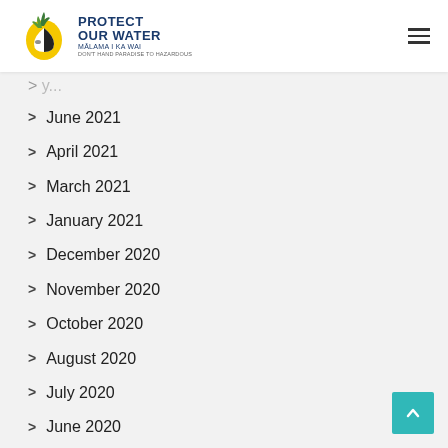Protect Our Water — Malama I Ka Wai
June 2021
April 2021
March 2021
January 2021
December 2020
November 2020
October 2020
August 2020
July 2020
June 2020
May 2020
April 2020
March 2020